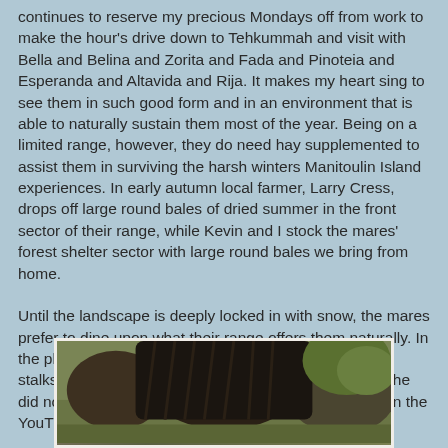continues to reserve my precious Mondays off from work to make the hour's drive down to Tehkummah and visit with Bella and Belina and Zorita and Fada and Pinoteia and Esperanda and Altavida and Rija.  It makes my heart sing to see them in such good form and in an environment that is able to naturally sustain them most of the year.  Being on a limited range, however, they do need hay supplemented to assist them in surviving the harsh winters Manitoulin Island experiences.  In early autumn local farmer, Larry Cress, drops off large round bales of dried summer in the front sector of their range, while Kevin and I stock the mares' forest shelter sector with large round bales we bring from home.

Until the landscape is deeply locked in with snow, the mares prefer to dine upon what their range offers them naturally.  In the photo below, Rija purposefully selects dried thistle stalks...a delectable treat, or for medicinal purposes...she did not say which!  (see her eating these prickly plants in the YouTube video link below)
[Figure (photo): Photo of a horse (Rija) partially visible at the bottom of the page, appearing to eat dried thistle stalks in a natural outdoor setting.]